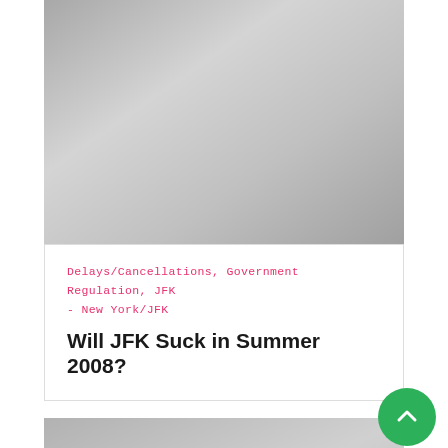[Figure (photo): Gray gradient image placeholder at top of page]
Delays/Cancellations, Government Regulation, JFK - New York/JFK
Will JFK Suck in Summer 2008?
[Figure (photo): Gray gradient image placeholder at bottom of page]